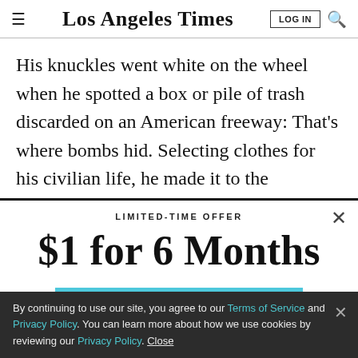Los Angeles Times
His knuckles went white on the wheel when he spotted a box or pile of trash discarded on an American freeway: That's where bombs hid. Selecting clothes for his civilian life, he made it to the changing room at Nordstrom before panic overtook him. At Wal-Mart, his
LIMITED-TIME OFFER
$1 for 6 Months
SUBSCRIBE NOW
By continuing to use our site, you agree to our Terms of Service and Privacy Policy. You can learn more about how we use cookies by reviewing our Privacy Policy. Close